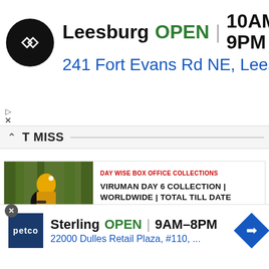[Figure (screenshot): Ad banner: Leesburg store OPEN 10AM-9PM, 241 Fort Evans Rd NE, Leesb — with black circular logo and blue navigation diamond icon]
T MISS
[Figure (photo): Movie still showing a man in black shirt with sunglasses giving a woman in yellow saree a piggyback ride on a motorcycle in a forest setting]
DAY WISE BOX OFFICE COLLECTIONS
VIRUMAN DAY 6 COLLECTION | WORLDWIDE | TOTAL TILL DATE
[Figure (photo): Partial movie still showing a man's face in dramatic lighting with golden/warm tones]
[Figure (screenshot): Ad banner: Petco Sterling store OPEN 9AM-8PM, 22000 Dulles Retail Plaza, #110, ... — with blue Petco logo and blue navigation diamond icon]
IS
CTION |